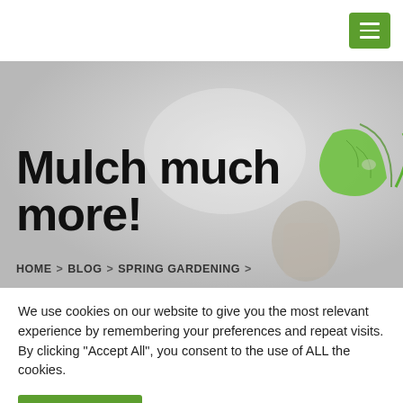[Figure (screenshot): Green hamburger menu button in top right corner]
Mulch much more!
HOME > BLOG > SPRING GARDENING >
We use cookies on our website to give you the most relevant experience by remembering your preferences and repeat visits. By clicking "Accept All", you consent to the use of ALL the cookies.
Accept All